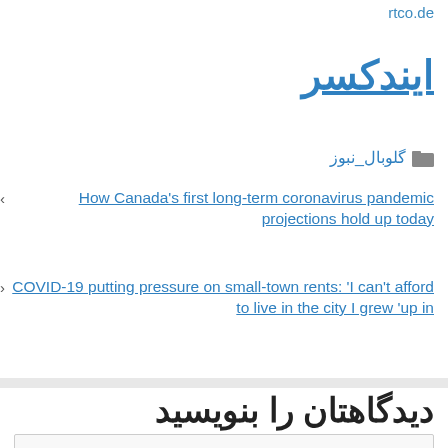rtco.de
ایندکسر
گلوبال_نبوز
How Canada's first long-term coronavirus pandemic projections hold up today
COVID-19 putting pressure on small-town rents: 'I can't afford to live in the city I grew 'up in
دیدگاهتان را بنویسید